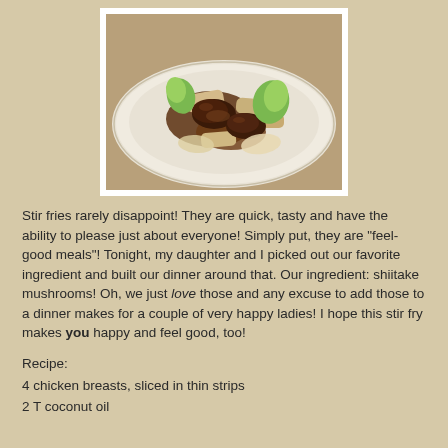[Figure (photo): A plate of stir fry with shiitake mushrooms, chicken, bok choy, and brown sauce on a white plate]
Stir fries rarely disappoint! They are quick, tasty and have the ability to please just about everyone! Simply put, they are "feel-good meals"! Tonight, my daughter and I picked out our favorite ingredient and built our dinner around that. Our ingredient: shiitake mushrooms! Oh, we just love those and any excuse to add those to a dinner makes for a couple of very happy ladies! I hope this stir fry makes you happy and feel good, too!
Recipe:
4 chicken breasts, sliced in thin strips
2 T coconut oil